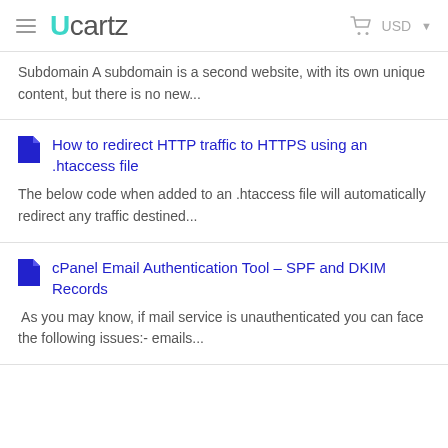Ucartz  USD
Subdomain A subdomain is a second website, with its own unique content, but there is no new...
How to redirect HTTP traffic to HTTPS using an .htaccess file
The below code when added to an .htaccess file will automatically redirect any traffic destined...
cPanel Email Authentication Tool – SPF and DKIM Records
As you may know, if mail service is unauthenticated you can face the following issues:- emails...